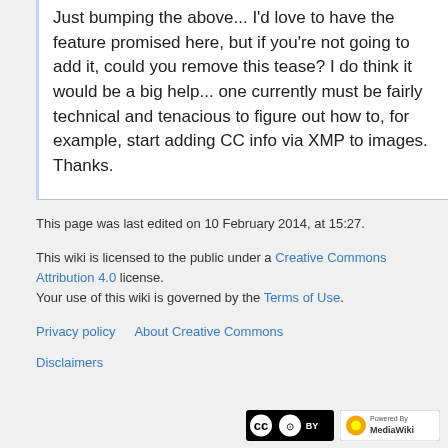Just bumping the above... I'd love to have the feature promised here, but if you're not going to add it, could you remove this tease? I do think it would be a big help... one currently must be fairly technical and tenacious to figure out how to, for example, start adding CC info via XMP to images. Thanks.
This page was last edited on 10 February 2014, at 15:27.
This wiki is licensed to the public under a Creative Commons Attribution 4.0 license.
Your use of this wiki is governed by the Terms of Use.
Privacy policy   About Creative Commons
Disclaimers
[Figure (logo): Creative Commons BY license badge]
[Figure (logo): Powered by MediaWiki badge]